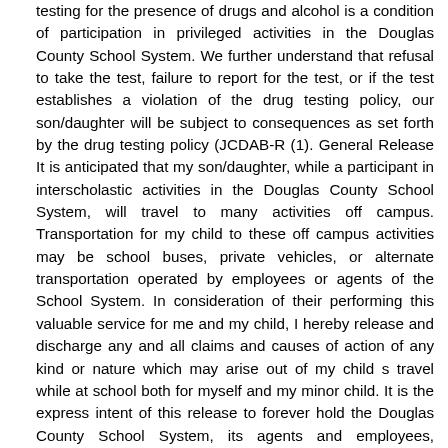testing for the presence of drugs and alcohol is a condition of participation in privileged activities in the Douglas County School System. We further understand that refusal to take the test, failure to report for the test, or if the test establishes a violation of the drug testing policy, our son/daughter will be subject to consequences as set forth by the drug testing policy (JCDAB-R (1). General Release It is anticipated that my son/daughter, while a participant in interscholastic activities in the Douglas County School System, will travel to many activities off campus. Transportation for my child to these off campus activities may be school buses, private vehicles, or alternate transportation operated by employees or agents of the School System. In consideration of their performing this valuable service for me and my child, I hereby release and discharge any and all claims and causes of action of any kind or nature which may arise out of my child s travel while at school both for myself and my minor child. It is the express intent of this release to forever hold the Douglas County School System, its agents and employees, harmless for any injuries which may occur to my child as a result of travel while he or she is in the custody of the School System. Insurance Waiver I fully understand that the